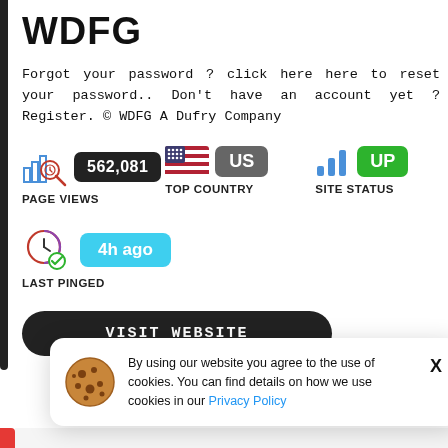WDFG
Forgot your password ? click here here to reset your password.. Don't have an account yet ? Register. © WDFG A Dufry Company
[Figure (infographic): Page views stat block with chart icon, showing 562,081 page views]
[Figure (infographic): Top country stat block showing US flag and US badge]
[Figure (infographic): Site status stat block showing bar chart icon and UP badge in green]
[Figure (infographic): Last pinged stat block showing clock icon and 4h ago badge]
VISIT WEBSITE
By using our website you agree to the use of cookies. You can find details on how we use cookies in our Privacy Policy